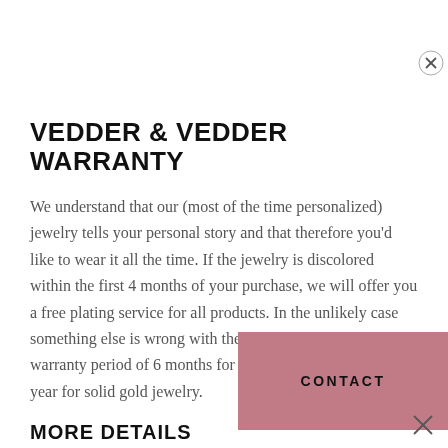VEDDER & VEDDER WARRANTY
We understand that our (most of the time personalized) jewelry tells your personal story and that therefore you'd like to wear it all the time. If the jewelry is discolored within the first 4 months of your purchase, we will offer you a free plating service for all products. In the unlikely case something else is wrong with the jewelry, we have a warranty period of 6 months for gold-plated jewelry and a year for solid gold jewelry.
MORE DETAILS